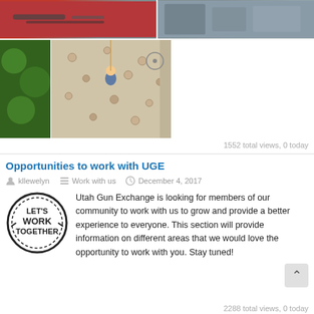[Figure (photo): Two photos side by side: left shows items on a red table, right shows people at an indoor event]
[Figure (photo): Composite photo with trees on left and person climbing a rock wall on right]
1552 total views, 0 today
Opportunities to work with UGE
kllewelyn   Work with us   December 4, 2017
Utah Gun Exchange is looking for members of our community to work with us to grow and provide a better experience to everyone. This section will provide information on different areas that we would love the opportunity to work with you. Stay tuned!
2288 total views, 0 today